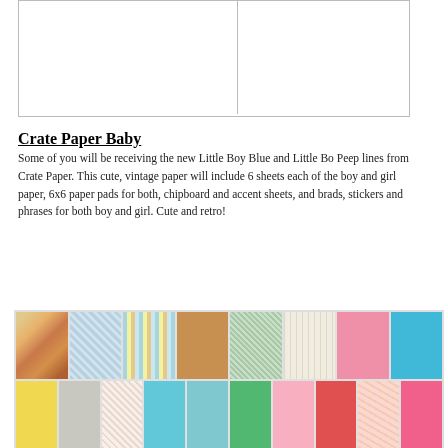[Figure (other): Two blank white rectangular cells side by side with light gray border, representing paper/product image placeholders]
Crate Paper Baby
Some of you will be receiving the new Little Boy Blue and Little Bo Peep lines from Crate Paper. This cute, vintage paper will include 6 sheets each of the boy and girl paper, 6x6 paper pads for both, chipboard and accent sheets, and brads, stickers and phrases for both boy and girl. Cute and retro!
[Figure (photo): Grid of scrapbook paper swatches showing two rows: top row features boy-themed papers (illustrated squares, blue dot pattern, colorful stripes, brown solid, green floral, cream lined, pink solid, teal blue solid) and girl-themed papers; bottom row shows girl-themed papers (yellow solid, gray, floral, teal, light teal, green, pink, red/coral, light floral, hot pink)]